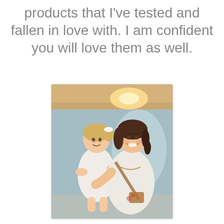products that I've tested and fallen in love with. I am confident you will love them as well.
[Figure (photo): A woman with brown hair in a ponytail holding a young blonde girl with a white bow in her hair. Both are smiling and dressed in white. The woman has a brown crossbody bag. Indoor setting with warm lighting and blue/teal background.]